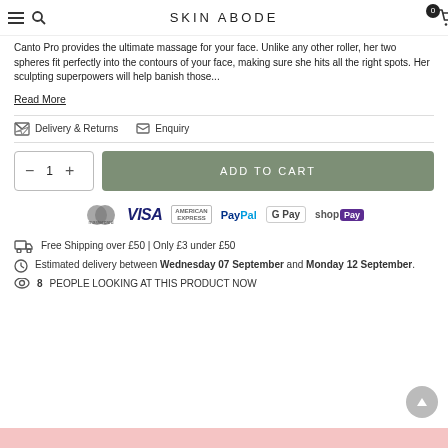SKIN ABODE
Canto Pro provides the ultimate massage for your face. Unlike any other roller, her two spheres fit perfectly into the contours of your face, making sure she hits all the right spots. Her sculpting superpowers will help banish those...
Read More
Delivery & Returns   Enquiry
1  ADD TO CART
[Figure (logo): Payment method icons: Mastercard, Visa, American Express, PayPal, Google Pay, Shop Pay]
Free Shipping over £50 | Only £3 under £50
Estimated delivery between Wednesday 07 September and Monday 12 September.
8 PEOPLE LOOKING AT THIS PRODUCT NOW